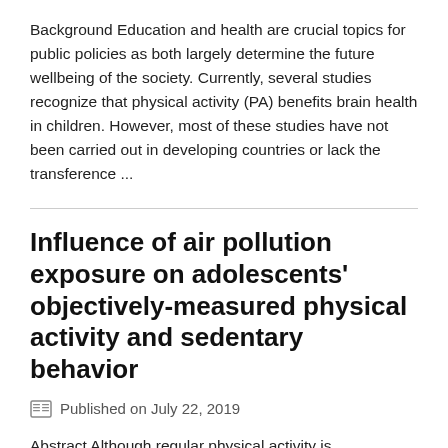Background Education and health are crucial topics for public policies as both largely determine the future wellbeing of the society. Currently, several studies recognize that physical activity (PA) benefits brain health in children. However, most of these studies have not been carried out in developing countries or lack the transference ...
Influence of air pollution exposure on adolescents' objectively-measured physical activity and sedentary behavior
Published on July 22, 2019
Abstract Although regular physical activity is recommended for health, highly contaminated air exposure acts to the detriment of the benefits produced in individuals. The purpose of the present study was to compare the accelerometer-measured